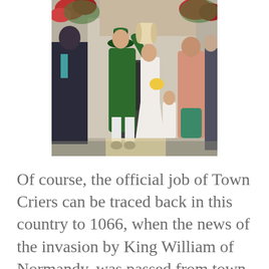[Figure (photo): A town crier in a green uniform reading from a scroll, surrounded by people including a bride in white dress, at what appears to be a wedding ceremony outside a building with red flowers.]
Of course, the official job of Town Criers can be traced back in this country to 1066, when the news of the invasion by King William of Normandy, was passed from town to town, by individuals specifically